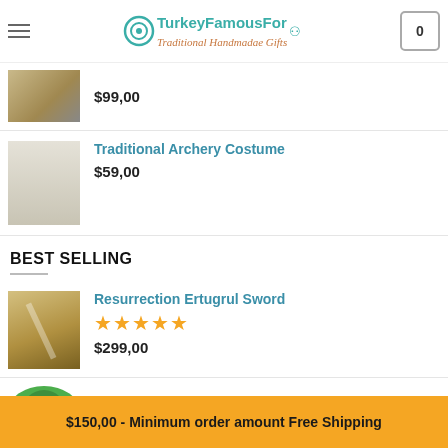TurkeyFamousFor - Traditional Handmadae Gifts
$99,00
Traditional Archery Costume
$59,00
BEST SELLING
Resurrection Ertugrul Sword
★★★★★
$299,00
Dirilis Turgut Alp Axe
$150,00 - Minimum order amount Free Shipping